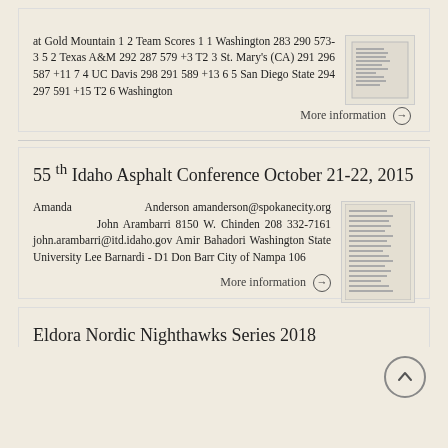at Gold Mountain 1 2 Team Scores 1 1 Washington 283 290 573-3 5 2 Texas A&M 292 287 579 +3 T2 3 St. Mary's (CA) 291 296 587 +11 7 4 UC Davis 298 291 589 +13 6 5 San Diego State 294 297 591 +15 T2 6 Washington
More information →
55 th Idaho Asphalt Conference October 21-22, 2015
Amanda Anderson amanderson@spokanecity.org John Arambarri 8150 W. Chinden 208 332-7161 john.arambarri@itd.idaho.gov Amir Bahadori Washington State University Lee Barnardi - D1 Don Barr City of Nampa 106
More information →
Eldora Nordic Nighthawks Series 2018